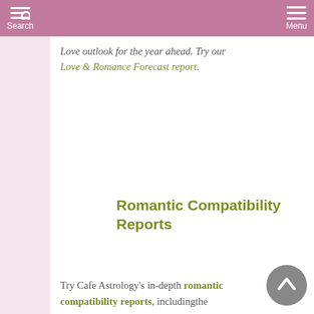Search   Menu
Love outlook for the year ahead. Try our Love & Romance Forecast report.
Romantic Compatibility Reports
Try Cafe Astrology's in-depth romantic compatibility reports, includingthe Synastry and Love Ties reports.